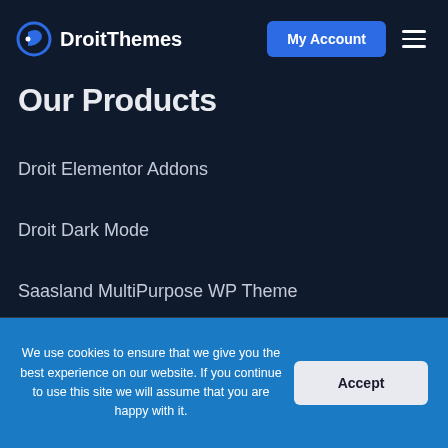DroitThemes | My Account
Our Products
Droit Elementor Addons
Droit Dark Mode
Saasland MultiPurpose WP Theme
We use cookies to ensure that we give you the best experience on our website. If you continue to use this site we will assume that you are happy with it.